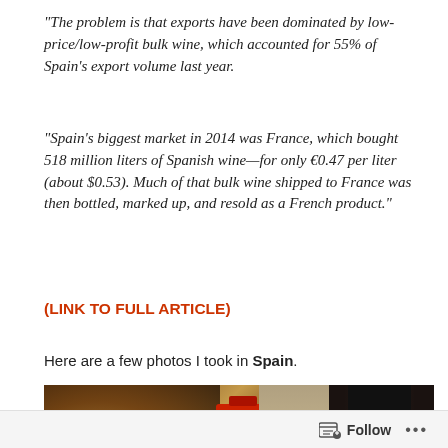“The problem is that exports have been dominated by low-price/low-profit bulk wine, which accounted for 55% of Spain’s export volume last year.
“Spain’s biggest market in 2014 was France, which bought 518 million liters of Spanish wine—for only €0.47 per liter (about $0.53). Much of that bulk wine shipped to France was then bottled, marked up, and resold as a French product.”
(LINK TO FULL ARTICLE)
Here are a few photos I took in Spain.
[Figure (photo): A dark photograph showing what appears to be a wine cellar or storage area with a red fire extinguisher visible and a dark wine bottle on the right side.]